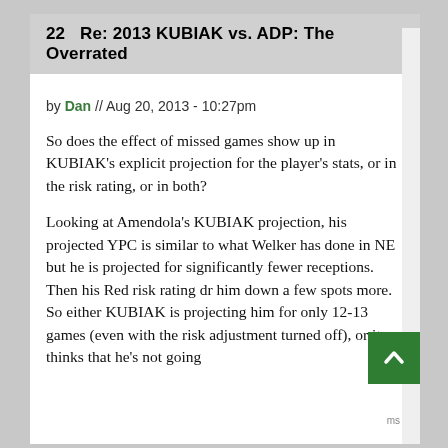22   Re: 2013 KUBIAK vs. ADP: The Overrated
by Dan // Aug 20, 2013 - 10:27pm
So does the effect of missed games show up in KUBIAK's explicit projection for the player's stats, or in the risk rating, or in both?
Looking at Amendola's KUBIAK projection, his projected YPC is similar to what Welker has done in NE but he is projected for significantly fewer receptions. Then his Red risk rating dr him down a few spots more. So either KUBIAK is projecting him for only 12-13 games (even with the risk adjustment turned off), or it thinks that he's not going